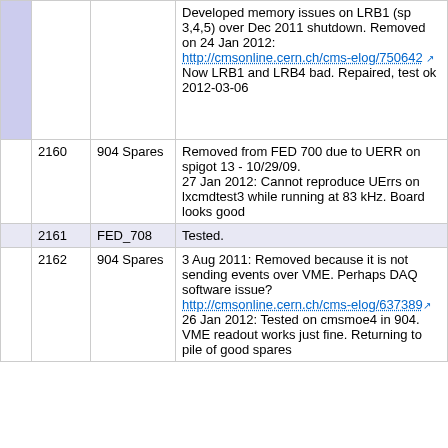|  | ID | Location | Notes |
| --- | --- | --- | --- |
|  |  |  | Developed memory issues on LRB1 (sp 3,4,5) over Dec 2011 shutdown. Removed on 24 Jan 2012:
http://cmsonline.cern.ch/cms-elog/750642 Now LRB1 and LRB4 bad. Repaired, test ok 2012-03-06 |
|  | 2160 | 904 Spares | Removed from FED 700 due to UERR on spigot 13 - 10/29/09.
27 Jan 2012: Cannot reproduce UErrs on lxcmdtest3 while running at 83 kHz. Board looks good |
|  | 2161 | FED_708 | Tested. |
|  | 2162 | 904 Spares | 3 Aug 2011: Removed because it is not sending events over VME. Perhaps DAQ software issue?
http://cmsonline.cern.ch/cms-elog/637389
26 Jan 2012: Tested on cmsmoe4 in 904. VME readout works just fine. Returning to pile of good spares |